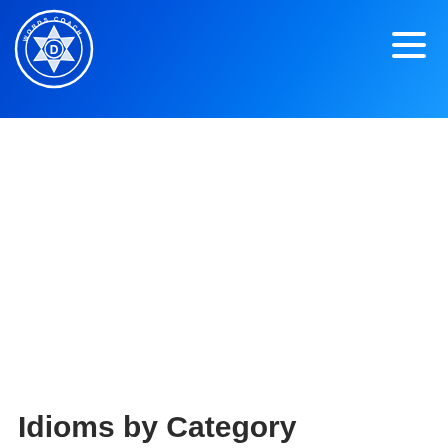[Figure (logo): Words Coach circular logo with camera aperture icon and letter D in center, white text on blue circle background]
Idioms by Category